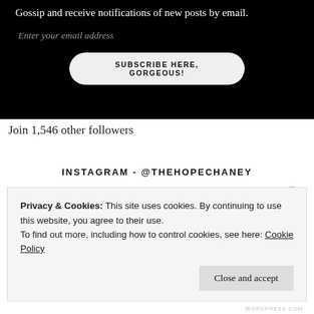Gossip and receive notifications of new posts by email.
Enter your email address
SUBSCRIBE HERE, GORGEOUS!
Join 1,546 other followers
INSTAGRAM - @THEHOPECHANEY
Privacy & Cookies: This site uses cookies. By continuing to use this website, you agree to their use.
To find out more, including how to control cookies, see here: Cookie Policy
Close and accept